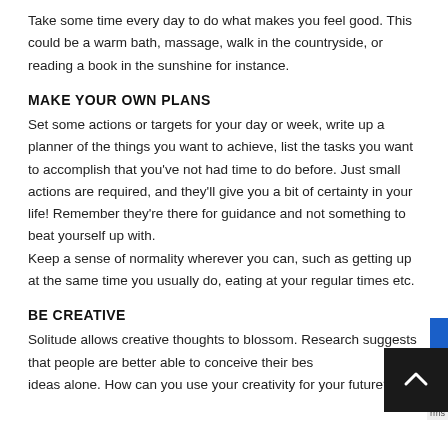Take some time every day to do what makes you feel good. This could be a warm bath, massage, walk in the countryside, or reading a book in the sunshine for instance.
MAKE YOUR OWN PLANS
Set some actions or targets for your day or week, write up a planner of the things you want to achieve, list the tasks you want to accomplish that you've not had time to do before. Just small actions are required, and they'll give you a bit of certainty in your life! Remember they're there for guidance and not something to beat yourself up with.
Keep a sense of normality wherever you can, such as getting up at the same time you usually do, eating at your regular times etc.
BE CREATIVE
Solitude allows creative thoughts to blossom. Research suggests that people are better able to conceive their best ideas alone. How can you use your creativity for your future?